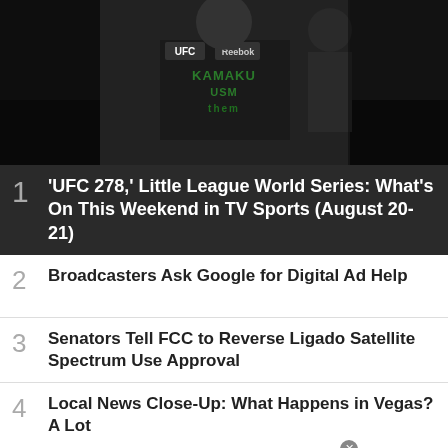[Figure (photo): UFC fighters photo, dark background with a fighter wearing a UFC/Reebok shirt with green text 'KAMAKU' and another person behind]
1 'UFC 278,' Little League World Series: What's On This Weekend in TV Sports (August 20-21)
2 Broadcasters Ask Google for Digital Ad Help
3 Senators Tell FCC to Reverse Ligado Satellite Spectrum Use Approval
4 Local News Close-Up: What Happens in Vegas? A Lot
[Figure (photo): Ulta Beauty advertisement banner with makeup imagery - lipstick, makeup brush, eye makeup, Ulta logo, and woman's eyes with text SHOP NOW]